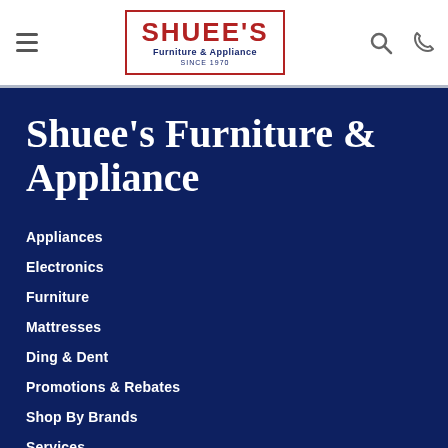[Figure (logo): Shuee's Furniture & Appliance logo with red border, red SHUEE'S text, and navy subtitle 'Furniture & Appliance SINCE 1970']
Shuee's Furniture & Appliance
Appliances
Electronics
Furniture
Mattresses
Ding & Dent
Promotions & Rebates
Shop By Brands
Services
About Us